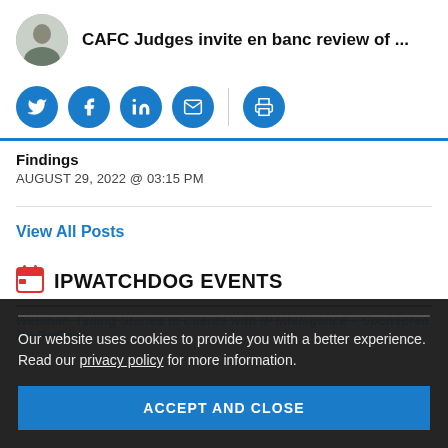CAFC Judges invite en banc review of ...
[Figure (illustration): Row of social media sharing icons: Twitter, Facebook, LinkedIn, Email, and Print, all in blue circular buttons]
Findings
AUGUST 29, 2022 @ 03:15 PM
View All Posts
IPWATCHDOG EVENTS
Webinar: Telling Stories to Clients with IP Intelligence – Sponsored By PatSnap
Our website uses cookies to provide you with a better experience. Read our privacy policy for more information.
ACCEPT AND CLOSE